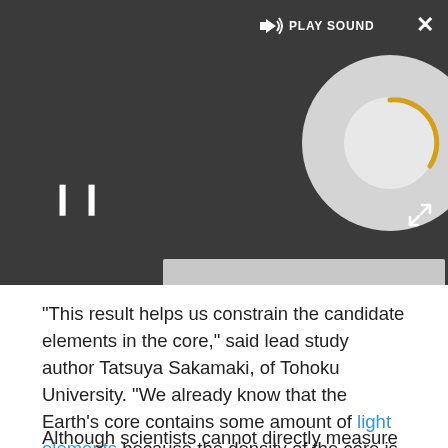[Figure (screenshot): A dark-background media player UI showing a 'PLAY SOUND' button with speaker icon, a disc/record graphic with a loading/spinning indicator in yellow, a pause button (||), a close (X) button in the top right, and an expand button in the bottom right. A light gray progress bar area is at the bottom of the player.]
"This result helps us constrain the candidate elements in the core," said lead study author Tatsuya Sakamaki, of Tohoku University. "We already know that the Earth's core contains some amount of light elements because the density of the core is smaller than that of iron. In this study, we newly show that the velocity of the core is also smaller than that of iron," Sakamaki told Live Science in an email interview.
Although scientists cannot directly measure the